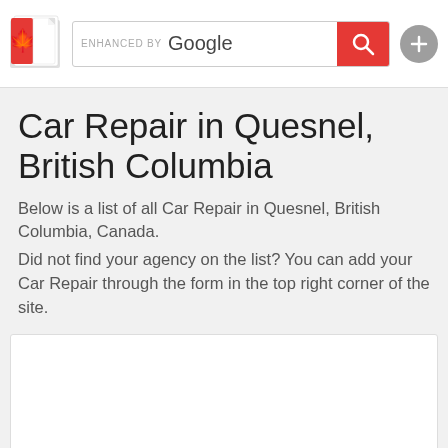ENHANCED BY Google
Car Repair in Quesnel, British Columbia
Below is a list of all Car Repair in Quesnel, British Columbia, Canada.
Did not find your agency on the list? You can add your Car Repair through the form in the top right corner of the site.
[Figure (other): White content card / map area placeholder]